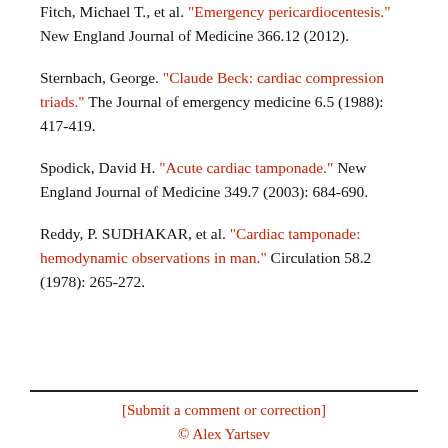Fitch, Michael T., et al. "Emergency pericardiocentesis." New England Journal of Medicine 366.12 (2012).
Sternbach, George. "Claude Beck: cardiac compression triads." The Journal of emergency medicine 6.5 (1988): 417-419.
Spodick, David H. "Acute cardiac tamponade." New England Journal of Medicine 349.7 (2003): 684-690.
Reddy, P. SUDHAKAR, et al. "Cardiac tamponade: hemodynamic observations in man." Circulation 58.2 (1978): 265-272.
[Submit a comment or correction]
© Alex Yartsev